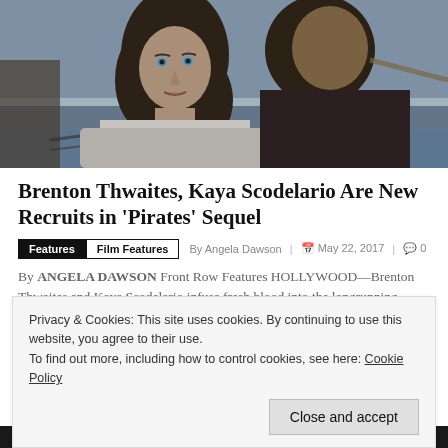[Figure (photo): Two actors (a woman with curly dark hair and a man) on what appears to be a ship deck with ocean in the background — from Pirates of the Caribbean movie]
Brenton Thwaites, Kaya Scodelario Are New Recruits in 'Pirates' Sequel
Features  Film Features  By Angela Dawson | May 22, 2017 | 0
By ANGELA DAWSON Front Row Features HOLLYWOOD—Brenton Thwaites and Kaya Scodelario infuse fresh blood into the longrunning "Pirates of the Caribbean" swashbuckling franchise. In
Privacy & Cookies: This site uses cookies. By continuing to use this website, you agree to their use.
To find out more, including how to control cookies, see here: Cookie Policy
Close and accept